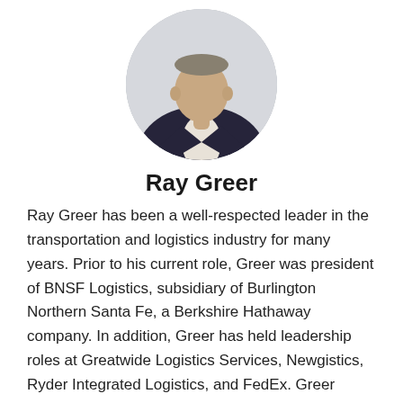[Figure (photo): Circular headshot photo of Ray Greer, a man in a dark blazer and light shirt, photographed from the chest up against a light background.]
Ray Greer
Ray Greer has been a well-respected leader in the transportation and logistics industry for many years. Prior to his current role, Greer was president of BNSF Logistics, subsidiary of Burlington Northern Santa Fe, a Berkshire Hathaway company. In addition, Greer has held leadership roles at Greatwide Logistics Services, Newgistics, Ryder Integrated Logistics, and FedEx. Greer received his bachelor's degree in Mathematics from the University of Utah in Salt Lake City and holds a Master of Science in Information Systems and